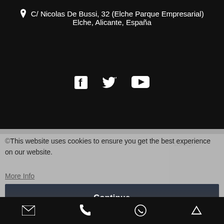C/ Nicolas De Bussi, 32 (Elche Parque Empresarial) Elche, Alicante, España
[Figure (infographic): Social media icons: Facebook (f), Twitter (bird), YouTube (play button)]
©This website uses cookies to ensure you get the best experience on our website.
Design:
More Info
Continue
Email icon | Phone icon | WhatsApp icon | Up arrow icon